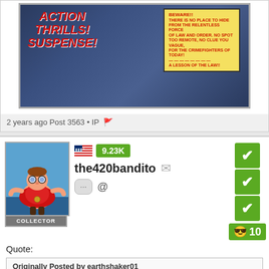[Figure (photo): Scanned comic book cover in a protective case, showing action/thriller imagery with red text 'ACTION THRILLS! SUSPENSE!' and a yellow warning sign on the right.]
2 years ago Post 3563 • IP 🚩
[Figure (illustration): Forum user avatar showing a cartoon character (fat superhero in red cape) against a sky background, labeled COLLECTOR]
🇺🇸 9.23K the420bandito ✉ ··· @
☑ ☑ ☑ 😎 10
Quote:
Originally Posted by earthshaker01
I don't buy too many foreign comics, don't ask why, but when I do they have to be GA, high grade and #1's. Oh, and from Canada, England, or Australia. Here is a Buccaneers #1 from Australia. I think it's 1950, can anyone get a specific date? I'll give you a nickel, if ya do.